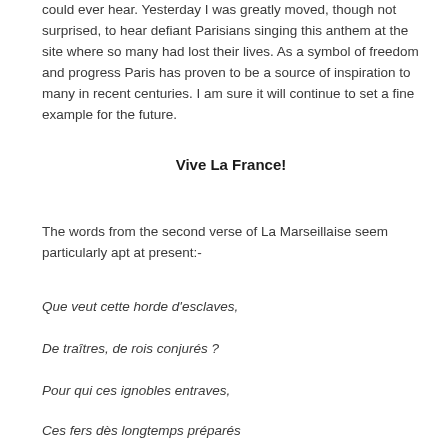could ever hear. Yesterday I was greatly moved, though not surprised, to hear defiant Parisians singing this anthem at the site where so many had lost their lives. As a symbol of freedom and progress Paris has proven to be a source of inspiration to many in recent centuries. I am sure it will continue to set a fine example for the future.
Vive La France!
The words from the second verse of La Marseillaise seem particularly apt at present:-
Que veut cette horde d'esclaves,
De traîtres, de rois conjurés ?
Pour qui ces ignobles entraves,
Ces fers dès longtemps préparés